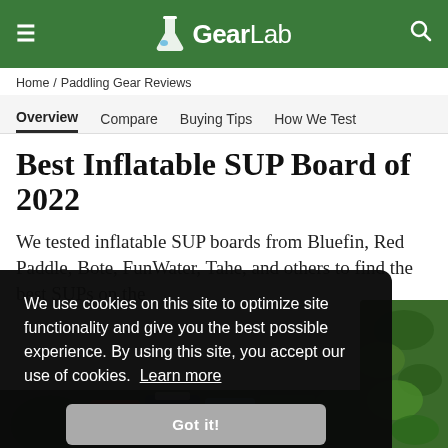GearLab
Home / Paddling Gear Reviews
Overview  Compare  Buying Tips  How We Test
Best Inflatable SUP Board of 2022
We tested inflatable SUP boards from Bluefin, Red Paddle, Bote, FunWater, Tahe, and others to find the best SUPs on the
We use cookies on this site to optimize site functionality and give you the best possible experience. By using this site, you accept our use of cookies. Learn more
Got it!